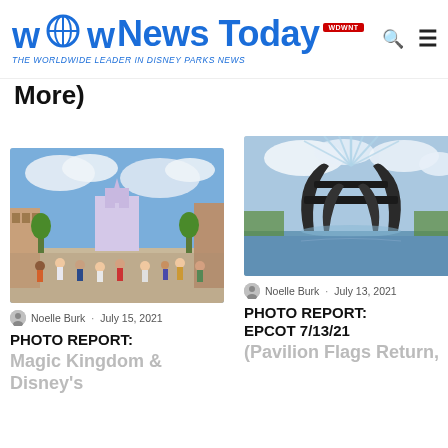WDW News Today – THE WORLDWIDE LEADER IN DISNEY PARKS NEWS
More)
[Figure (photo): Photo of Magic Kingdom Main Street USA crowded with visitors, Cinderella castle in background, blue sky with clouds]
Noelle Burk · July 15, 2021
PHOTO REPORT:
Magic Kingdom & Disney's
[Figure (photo): Photo of EPCOT fountain sculpture with water jets spraying, dark metallic structure, water, trees in background]
Noelle Burk · July 13, 2021
PHOTO REPORT: EPCOT 7/13/21
(Pavilion Flags Return,